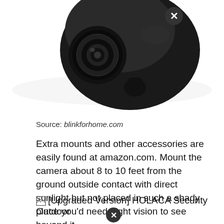[Figure (photo): Black dome security camera photographed from above against white background, with a circular X/close button overlay in upper right area of the image]
Source: blinkforhome.com
Extra mounts and other accessories are easily found at amazon.com. Mount the camera about 8 to 10 feet from the ground outside contact with direct sunlight but not placed in such a shady place you'd need night vision to see beyond it.
[Figure (photo): Partially visible image with alt text '[Upgraded Version] HOLACA Security Outdoor' and a circular X/close button overlay]